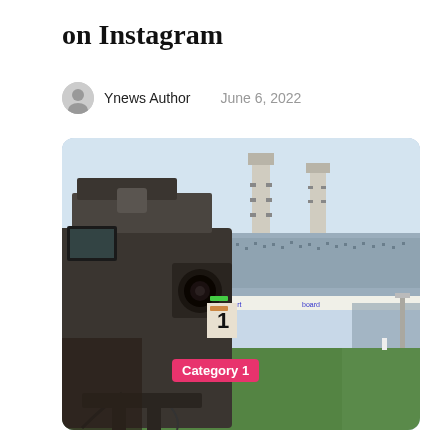on Instagram
Ynews Author   June 6, 2022
[Figure (photo): A broadcast TV camera in the foreground at a packed football/soccer stadium. The camera is numbered '1' and has various cables and controls. In the background is a large crowd in the stands and stadium floodlight towers. A pink 'Category 1' label badge overlays the lower left of the image.]